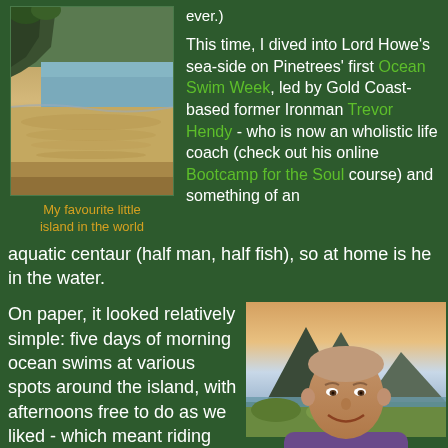[Figure (photo): Scenic coastal landscape photo of Lord Howe Island with beach and vegetation]
My favourite little island in the world
ever.) This time, I dived into Lord Howe's sea-side on Pinetrees' first Ocean Swim Week, led by Gold Coast-based former Ironman Trevor Hendy - who is now an wholistic life coach (check out his online Bootcamp for the Soul course) and something of an aquatic centaur (half man, half fish), so at home is he in the water.
On paper, it looked relatively simple: five days of morning ocean swims at various spots around the island, with afternoons free to do as we liked - which meant riding our rental bikes around, bodysurfing champagne-clear waves at Blinky Beach
[Figure (photo): Portrait photo of Trevor Hendy smiling outdoors with mountains and water in background]
Trevor Hendy: half man, half fish